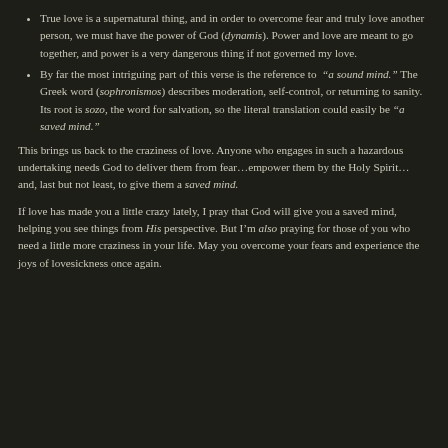True love is a supernatural thing, and in order to overcome fear and truly love another person, we must have the power of God (dynamis). Power and love are meant to go together, and power is a very dangerous thing if not governed my love.
By far the most intriguing part of this verse is the reference to “a sound mind.” The Greek word (sophronismos) describes moderation, self-control, or returning to sanity. Its root is sozo, the word for salvation, so the literal translation could easily be “a saved mind.”
This brings us back to the craziness of love. Anyone who engages in such a hazardous undertaking needs God to deliver them from fear…empower them by the Holy Spirit…and, last but not least, to give them a saved mind.
If love has made you a little crazy lately, I pray that God will give you a saved mind, helping you see things from His perspective. But I’m also praying for those of you who need a little more craziness in your life. May you overcome your fears and experience the joys of lovesickness once again.